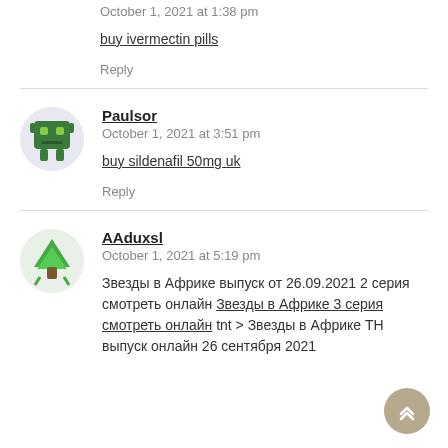October 1, 2021 at 1:38 pm
buy ivermectin pills
Reply
Paulsor
October 1, 2021 at 3:51 pm
buy sildenafil 50mg uk
Reply
AAduxsl
October 1, 2021 at 5:19 pm
Звезды в Африке выпуск от 26.09.2021 2 серия смотреть онлайн Звезды в Африке 3 серия смотреть онлайн tnt > Звезды в Африке ТН выпуск онлайн 26 сентября 2021